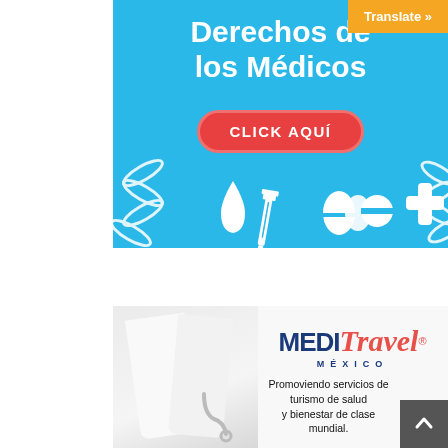[Figure (illustration): Blue medical advertisement banner with Spanish text 'Derechos de los Médicos', a red 'CLICK AQUÍ' button, and medical icons (DNA helix, water drop, syringe, pill capsule, cross). Orange 'Translate »' button overlay in top-right corner.]
[Figure (illustration): MediTravel México advertisement banner showing a doctor in white coat on left, and the MediTravel México logo (with stylized italic 'Travel' in coral red) with tagline 'Promoviendo servicios de turismo de salud y bienestar de clase mundial.' A grey scroll-to-top button is on the right.]